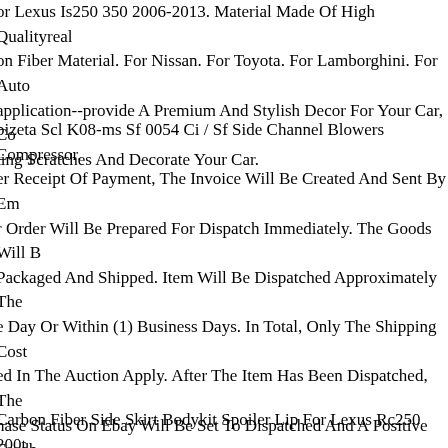or Lexus Is250 350 2006-2013. Material Made Of High Qualityreal on Fiber Material. For Nissan. For Toyota. For Lamborghini. For Auto application--provide A Premium And Stylish Decor For Your Car, Co ting Scratches And Decorate Your Car.
bizeta Scl K08-ms Sf 0054 Ci / Sf Side Channel Blowers Compressor. er Receipt Of Payment, The Invoice Will Be Created And Sent By Em r Order Will Be Prepared For Dispatch Immediately. The Goods Will B Packaged And Shipped. Item Will Be Dispatched Approximately The e Day Or Within (1) Business Days. In Total, Only The Shipping Cost ed In The Auction Apply. After The Item Has Been Dispatched, The hase Status On Ebay Will Be Set To Dispatched And A Positive Feedb Be Left. After The Payment, We Will Send U The Invoice And Your er Will Be Prepared For Shipment Immediately. The Goods Will Be W ed And Shipped. After The Item Has Been Shipped, You Will Receive ice And Tracking Number By Email And Get A Positive Rating. By mitting A Bid, You Confirm That You Are An Entrepreneur Within The ning Of.
Carbon Fiber Side Skirt Bodykit Spoiler Lip For Lexus Rc250 200t